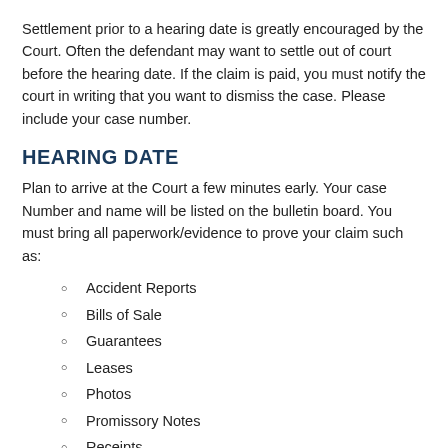Settlement prior to a hearing date is greatly encouraged by the Court. Often the defendant may want to settle out of court before the hearing date. If the claim is paid, you must notify the court in writing that you want to dismiss the case. Please include your case number.
HEARING DATE
Plan to arrive at the Court a few minutes early. Your case Number and name will be listed on the bulletin board. You must bring all paperwork/evidence to prove your claim such as:
Accident Reports
Bills of Sale
Guarantees
Leases
Photos
Promissory Notes
Receipts